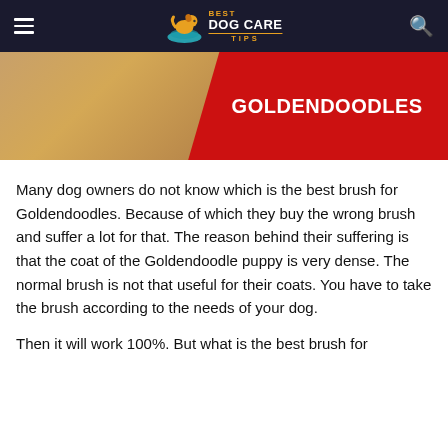Best Dog Care Tips
[Figure (photo): Hero image showing a Goldendoodle dog's fluffy fur on the left with a red panel on the right containing the bold white text 'GOLDENDOODLES']
Many dog owners do not know which is the best brush for Goldendoodles. Because of which they buy the wrong brush and suffer a lot for that. The reason behind their suffering is that the coat of the Goldendoodle puppy is very dense. The normal brush is not that useful for their coats. You have to take the brush according to the needs of your dog.
Then it will work 100%. But what is the best brush for